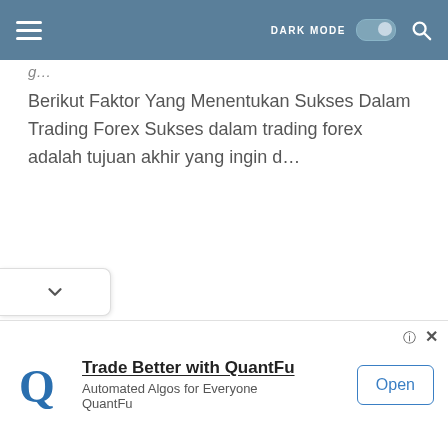DARK MODE [toggle] [search]
g…
Berikut Faktor Yang Menentukan Sukses Dalam Trading Forex Sukses dalam trading forex adalah tujuan akhir yang ingin d…
[Figure (screenshot): Advertisement banner: Trade Better with QuantFu — Automated Algos for Everyone, QuantFu. Open button on right.]